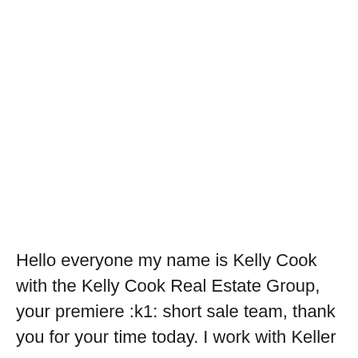Hello everyone my name is Kelly Cook with the Kelly Cook Real Estate Group, your premiere :k1: short sale team, thank you for your time today. I work with Keller